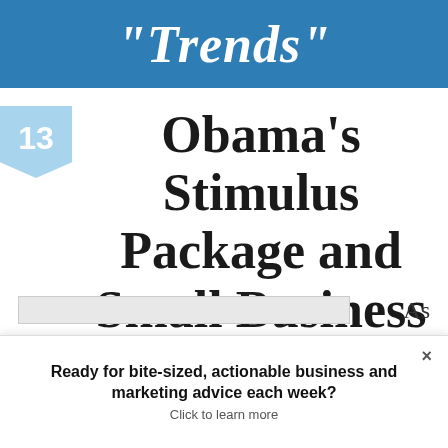Trends
13
Obama's Stimulus Package and Small Business
As
Ready for bite-sized, actionable business and marketing advice each week? Click to learn more